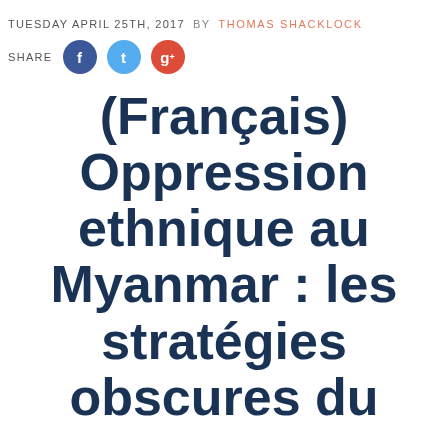TUESDAY APRIL 25TH, 2017  BY  THOMAS SHACKLOCK
SHARE
(Français) Oppression ethnique au Myanmar : les stratégies obscures du